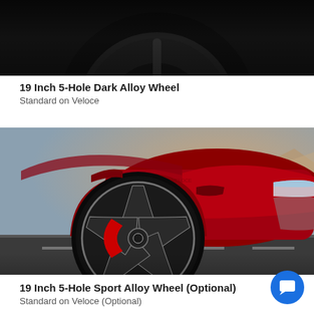[Figure (photo): Close-up of a dark alloy wheel on a vehicle, dark background, top portion of image]
19 Inch 5-Hole Dark Alloy Wheel
Standard on Veloce
[Figure (photo): Red Alfa Romeo vehicle front wheel area featuring a 19 inch 5-hole sport alloy wheel with red brake calipers, scenic rocky background]
19 Inch 5-Hole Sport Alloy Wheel (Optional)
Standard on Veloce (Optional)